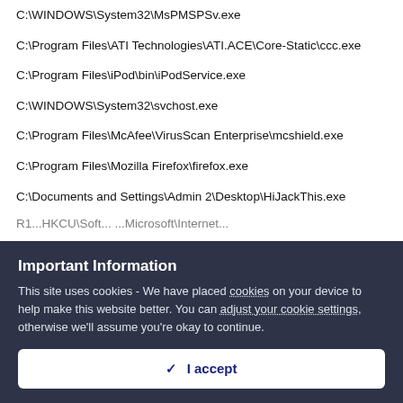C:\WINDOWS\System32\MsPMSPSv.exe
C:\Program Files\ATI Technologies\ATI.ACE\Core-Static\ccc.exe
C:\Program Files\iPod\bin\iPodService.exe
C:\WINDOWS\System32\svchost.exe
C:\Program Files\McAfee\VirusScan Enterprise\mcshield.exe
C:\Program Files\Mozilla Firefox\firefox.exe
C:\Documents and Settings\Admin 2\Desktop\HiJackThis.exe
R1...HKCU\Software\Microsoft\Internet...
Important Information
This site uses cookies - We have placed cookies on your device to help make this website better. You can adjust your cookie settings, otherwise we'll assume you're okay to continue.